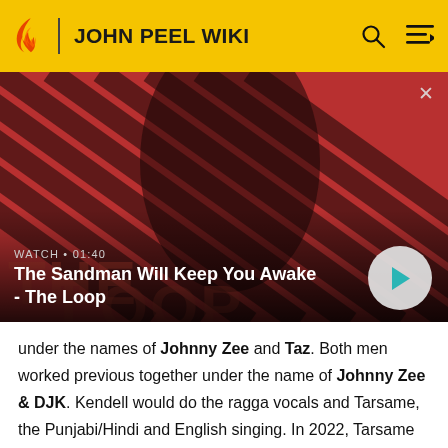JOHN PEEL WIKI
[Figure (screenshot): Video thumbnail showing a dark-haired man in black with a raven on his shoulder against a red and black diagonal striped background. Title text: 'The Sandman Will Keep You Awake - The Loop'. Watch duration: 01:40.]
under the names of Johnny Zee and Taz. Both men worked previous together under the name of Johnny Zee & DJK. Kendell would do the ragga vocals and Tarsame, the Punjabi/Hindi and English singing. In 2022, Tarsame died at the age of 54 due to a long term illness.